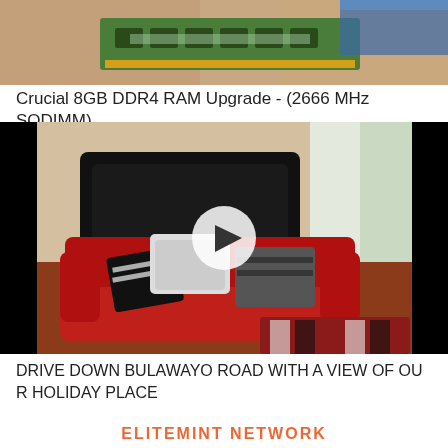[Figure (photo): Close-up photo of hands holding a green DDR4 RAM SODIMM memory module]
Crucial 8GB DDR4 RAM Upgrade - (2666 MHz SODIMM)
[Figure (photo): Video thumbnail showing a red sofa in a bedroom with black headboard, patterned pillows, and a play button overlay. Caption reads DRIVE DOWN BULAWAYO ROAD WITH A VIEW OF OUR HOLIDAY PLACE]
DRIVE DOWN BULAWAYO ROAD WITH A VIEW OF OUR HOLIDAY PLACE
ELITEMINT NETWORK